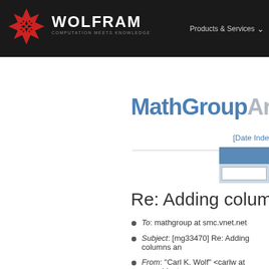WOLFRAM COMPUTATION MEETS KNOWLEDGE | Products & Services
[Figure (logo): Wolfram logo with red snowflake icon and WOLFRAM COMPUTATION MEETS KNOWLEDGE text on dark background]
MathGroup Archive
[Date Index]
Re: Adding columns a
To: mathgroup at smc.vnet.net
Subject: [mg33470] Re: Adding columns an
From: "Carl K. Wolf" <carlw at u.washington